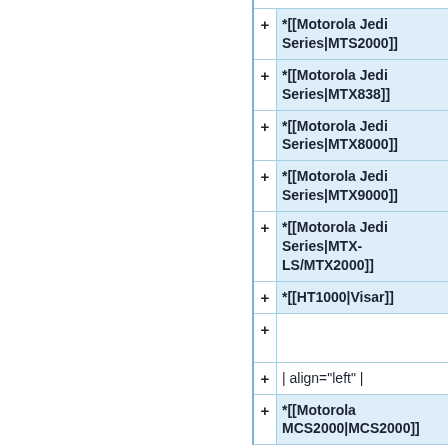*[[Motorola Jedi Series|MTS2000]]
*[[Motorola Jedi Series|MTX838]]
*[[Motorola Jedi Series|MTX8000]]
*[[Motorola Jedi Series|MTX9000]]
*[[Motorola Jedi Series|MTX-LS/MTX2000]]
*[[HT1000|Visar]]
+
| align="left" |
*[[Motorola MCS2000|MCS2000]]